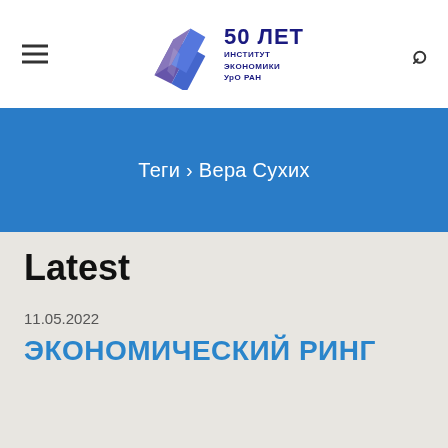50 ЛЕТ ИНСТИТУТ ЭКОНОМИКИ УрО РАН
Теги › Вера Сухих
Latest
11.05.2022
ЭКОНОМИЧЕСКИЙ РИНГ